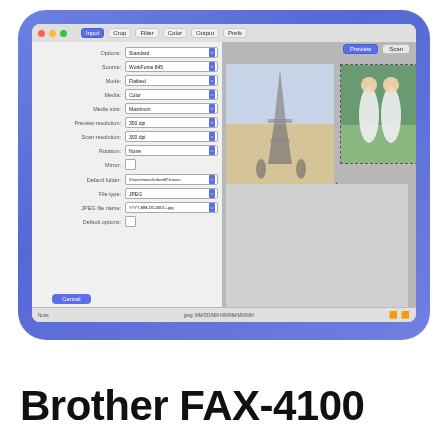[Figure (screenshot): macOS scanner application window (EpsonScan or similar) showing Input settings panel on the left with fields: Options: Standard, Source: WorkForce 845, Mode: Flatbed, Media: Color, Media size: Maximum, Preview resolution: 300 dpi, Scan resolution: 300 dpi, Rotation: None, Mirror checkbox, Default folder path, File type: JPEG, JPEG file name: YYYY-MM-DD-0001+.jpg, Default options checkbox. Right side shows preview with two scanned photos: Eiffel Tower scene and two girls in white dresses. Cancel button at bottom left. Displayed inside a blue rounded-rectangle card.]
Brother FAX-4100